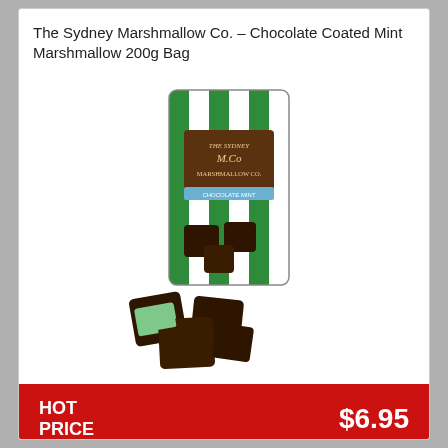The Sydney Marshmallow Co. – Chocolate Coated Mint Marshmallow 200g Bag
[Figure (photo): Product photo of The Sydney Marshmallow Co. Chocolate Coated Mint Marshmallow 200g Bag — a green and white striped standup pouch with dark chocolate coated mint marshmallows spilling out in front.]
HOT PRICE
$6.95
ADD TO CART